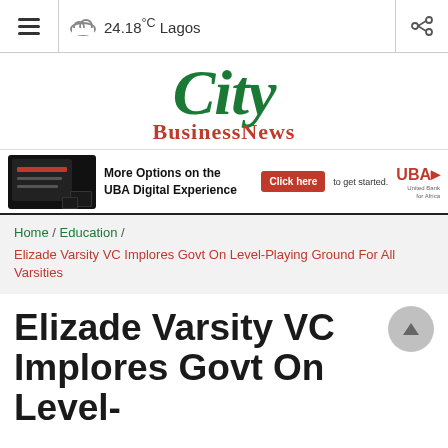≡  24.18°C Lagos  [share]
[Figure (logo): City BusinessNews logo — City in large green italic serif font, BusinessNews in smaller red serif font below]
[Figure (infographic): UBA Digital Experience banner ad with devices image, text 'More Options on the UBA Digital Experience', red Click here button, 'to get started.', and UBA logo]
Home / Education / Elizade Varsity VC Implores Govt On Level-Playing Ground For All Varsities
Elizade Varsity VC Implores Govt On Level-